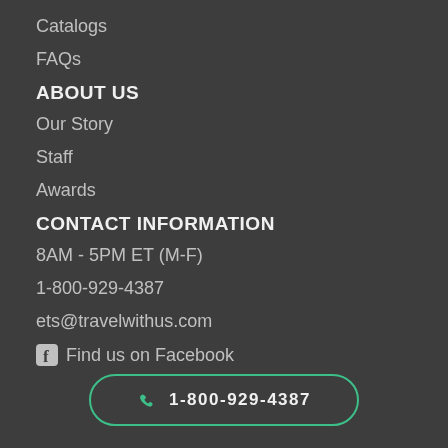Catalogs
FAQs
ABOUT US
Our Story
Staff
Awards
CONTACT INFORMATION
8AM - 5PM ET (M-F)
1-800-929-4387
ets@travelwithus.com
Find us on Facebook
1-800-929-4387